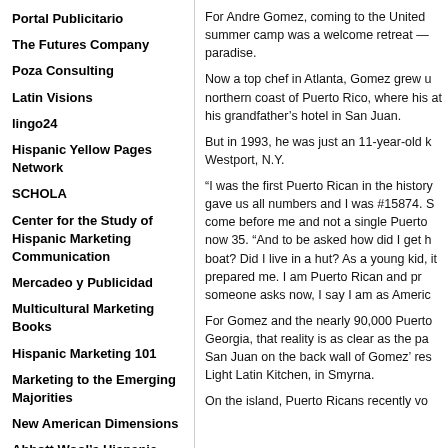Portal Publicitario
The Futures Company
Poza Consulting
Latin Visions
lingo24
Hispanic Yellow Pages Network
SCHOLA
Center for the Study of Hispanic Marketing Communication
Mercadeo y Publicidad
Multicultural Marketing Books
Hispanic Marketing 101
Marketing to the Emerging Majorities
New American Dimensions
Abbott Wool’s Hispanic Market Resources
Multicultural Marketing Resources, Inc.
What the Hispanic Population
For Andre Gomez, coming to the United summer camp was a welcome retreat — paradise.
Now a top chef in Atlanta, Gomez grew up on the northern coast of Puerto Rico, where his at his grandfather’s hotel in San Juan.
But in 1993, he was just an 11-year-old k Westport, N.Y.
“I was the first Puerto Rican in the history gave us all numbers and I was #15874. S come before me and not a single Puerto now 35. “And to be asked how did I get h boat? Did I live in a hut? As a young kid, it prepared me. I am Puerto Rican and pr someone asks now, I say I am as Americ
For Gomez and the nearly 90,000 Puerto Georgia, that reality is as clear as the pa San Juan on the back wall of Gomez’ res Light Latin Kitchen, in Smyrna.
On the island, Puerto Ricans recently vo